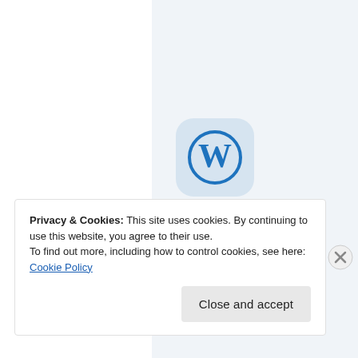[Figure (logo): WordPress app icon — circular W logo on light blue rounded square background]
Build a writing habit. Post
Privacy & Cookies: This site uses cookies. By continuing to use this website, you agree to their use.
To find out more, including how to control cookies, see here: Cookie Policy
Close and accept